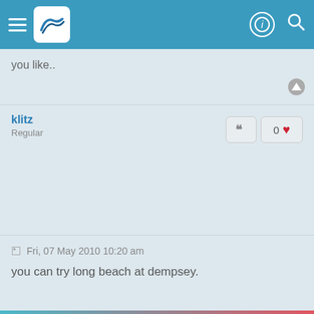[Figure (screenshot): Navigation bar with hamburger menu, logo, profile icon and search icon on teal background]
you like..
klitz
Regular
you can try long beach at dempsey.
Fri, 07 May 2010 10:20 am
yu jie
Newbie